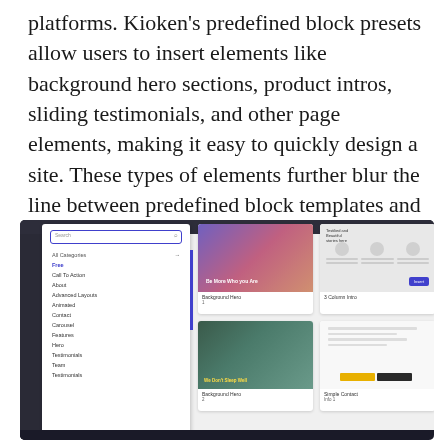platforms. Kioken's predefined block presets allow users to insert elements like background hero sections, product intros, sliding testimonials, and other page elements, making it easy to quickly design a site. These types of elements further blur the line between predefined block templates and themes.
[Figure (screenshot): Screenshot of Kioken block presets interface showing a panel with categories (All Categories, Free, Call To Action, About, Advanced Layouts, Animated, Contact, Carousel, Features, Hero, Testimonials, Team) on the left, and a grid of block template cards including Background Hero 1, 3 Column Intro (with Insert button highlighted), Product Info, Background Hero 2, Simple Contact Info 1, and Features and Testimonial.]